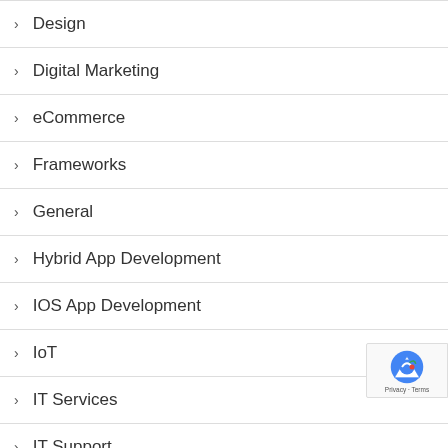> Design
> Digital Marketing
> eCommerce
> Frameworks
> General
> Hybrid App Development
> IOS App Development
> IoT
> IT Services
> IT Support